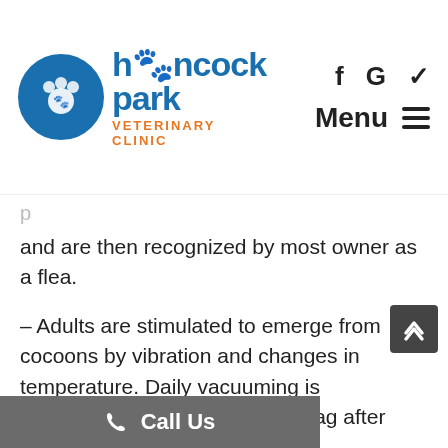[Figure (logo): Hancock Park Veterinary Clinic logo with blue circle emblem, blue and orange text, and social/menu navigation icons]
and are then recognized by most owner as a flea.
– Adults are stimulated to emerge from cocoons by vibration and changes in temperature. Daily vacuuming is recommended, discarding the bag after each use.
– Under normal circumstances the adults emerge from the cocoons in 7-10 days.
– Visual and heat stimuli are primary modes that attract adult fleas to host; carbon [jumping and is a